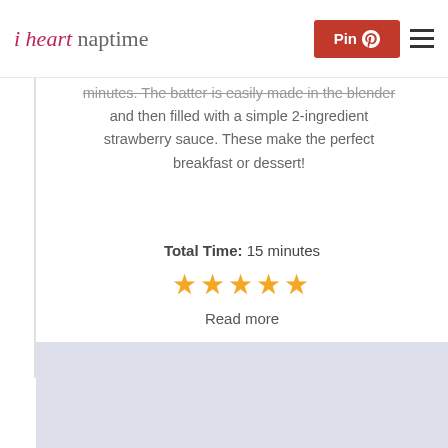i heart naptime | Pin | menu
minutes. The batter is easily made in the blender and then filled with a simple 2-ingredient strawberry sauce. These make the perfect breakfast or dessert!
Total Time: 15 minutes
★★★★★
Read more
[Figure (photo): Light blue/grey background food photo placeholder area, with a partial food image below showing pink/red food items on a white surface.]